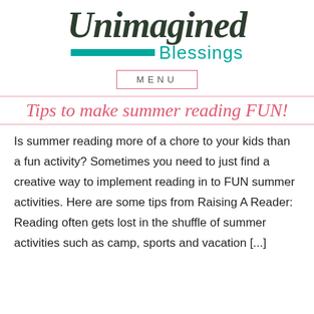[Figure (logo): Unimagined Blessings logo with cursive 'Unimagined' text, teal horizontal bar, and 'Blessings' in teal sans-serif]
MENU
Tips to make summer reading FUN!
Is summer reading more of a chore to your kids than a fun activity? Sometimes you need to just find a creative way to implement reading in to FUN summer activities. Here are some tips from Raising A Reader: Reading often gets lost in the shuffle of summer activities such as camp, sports and vacation [...]